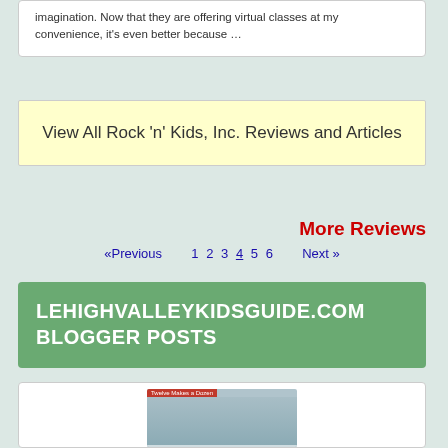imagination. Now that they are offering virtual classes at my convenience, it's even better because …
View All Rock 'n' Kids, Inc. Reviews and Articles
More Reviews
«Previous   1 2 3 4 5 6   Next »
LEHIGHVALLEYKIDSGUIDE.COM BLOGGER POSTS
[Figure (photo): Group photo labeled 'Twelve Makes a Dozen' showing a family group of about 12 people on a bridge with blue railings]